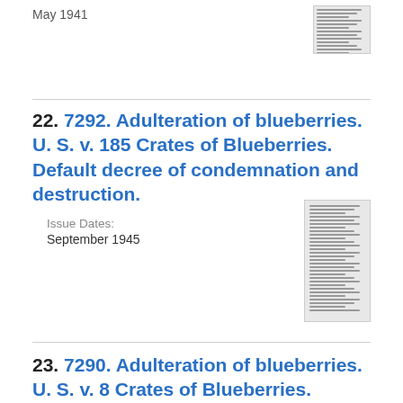May 1941
[Figure (other): Thumbnail image of a document page]
22. 7292. Adulteration of blueberries. U. S. v. 185 Crates of Blueberries. Default decree of condemnation and destruction.
Issue Dates:
September 1945
[Figure (other): Thumbnail image of a legal document page]
23. 7290. Adulteration of blueberries. U. S. v. 8 Crates of Blueberries. Default decree of